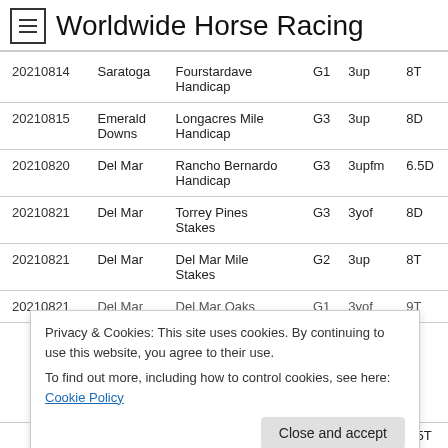Worldwide Horse Racing
| Date | Track | Race | Grade | Age | Dist |
| --- | --- | --- | --- | --- | --- |
| 20210814 | Saratoga | Fourstardave Handicap | G1 | 3up | 8T |
| 20210815 | Emerald Downs | Longacres Mile Handicap | G3 | 3up | 8D |
| 20210820 | Del Mar | Rancho Bernardo Handicap | G3 | 3upfm | 6.5D |
| 20210821 | Del Mar | Torrey Pines Stakes | G3 | 3yof | 8D |
| 20210821 | Del Mar | Del Mar Mile Stakes | G2 | 3up | 8T |
| 20210821 | Del Mar | Del Mar Oaks | G1 | 3yof | 9T |
Privacy & Cookies: This site uses cookies. By continuing to use this website, you agree to their use.
To find out more, including how to control cookies, see here: Cookie Policy
Close and accept
Translate »
|  |  | Lake Placid Stakes | G2 | 3yof | 8.5T |